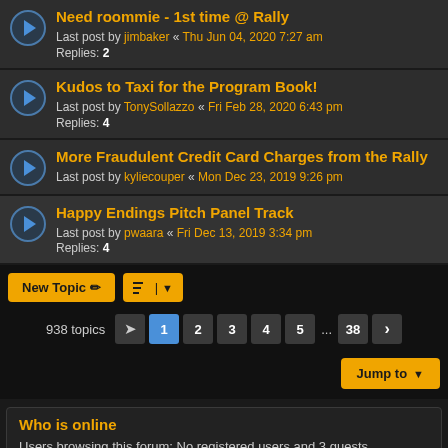Need roommie - 1st time @ Rally
Last post by jimbaker « Thu Jun 04, 2020 7:27 am
Replies: 2
Kudos to Taxi for the Program Book!
Last post by TonySollazzo « Fri Feb 28, 2020 6:43 pm
Replies: 4
More Fraudulent Credit Card Charges from the Rally
Last post by kyliecouper « Mon Dec 23, 2019 9:26 pm
Happy Endings Pitch Panel Track
Last post by pwaara « Fri Dec 13, 2019 3:34 pm
Replies: 4
New Topic  |  Sort  938 topics  1 2 3 4 5 … 38  Jump to
Who is online
Users browsing this forum: No registered users and 3 guests